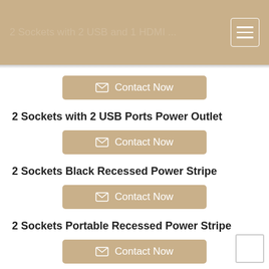2 Sockets with 2 USB and 1 HDMI
2 Sockets with 2 USB Ports Power Outlet
[Figure (other): Contact Now button with envelope icon]
2 Sockets Black Recessed Power Stripe
[Figure (other): Contact Now button with envelope icon]
2 Sockets Portable Recessed Power Stripe
[Figure (other): Contact Now button with envelope icon]
Safety 2 Sockets Recessed Power Outlet
[Figure (other): Contact Now button with envelope icon]